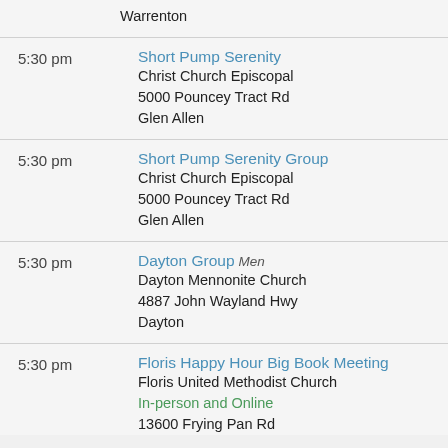Warrenton
5:30 pm | Short Pump Serenity | Christ Church Episcopal | 5000 Pouncey Tract Rd | Glen Allen
5:30 pm | Short Pump Serenity Group | Christ Church Episcopal | 5000 Pouncey Tract Rd | Glen Allen
5:30 pm | Dayton Group Men | Dayton Mennonite Church | 4887 John Wayland Hwy | Dayton
5:30 pm | Floris Happy Hour Big Book Meeting | Floris United Methodist Church | In-person and Online | 13600 Frying Pan Rd